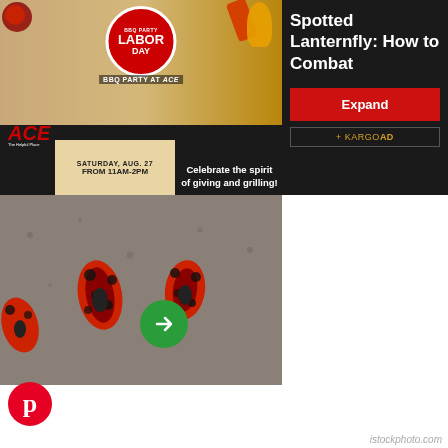[Figure (screenshot): ACE Hardware Labor Day BBQ Party advertisement banner. Shows Labor Day badge in red circle, BBQ party at ACE text, Saturday Aug. 27 from 11AM-2PM date box, ACE logo, and text: Celebrate the spirit of giving and grilling!]
Spotted Lanternfly: How to Combat
[Figure (other): Red Expand button and Kargo Ad label on dark background]
[Figure (photo): Close-up photo of spotted lanternfly insects on a surface, viewed from above. Shows red and black spotted wings. A green circular arrow button overlaid.]
[Figure (logo): Pinterest logo - red circular P icon]
istockphoto.com